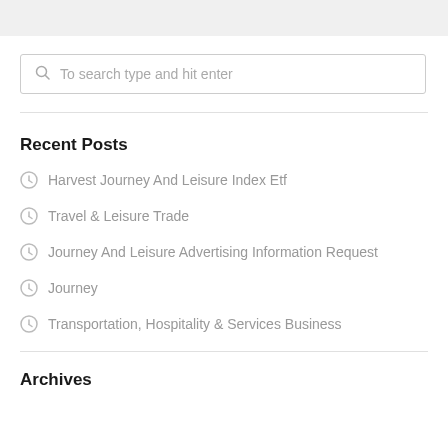To search type and hit enter
Recent Posts
Harvest Journey And Leisure Index Etf
Travel & Leisure Trade
Journey And Leisure Advertising Information Request
Journey
Transportation, Hospitality & Services Business
Archives